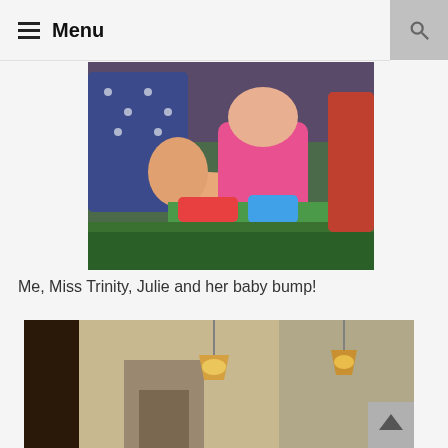Menu
[Figure (photo): Photo of people sitting on grass with a baby in pink outfit and colorful toys; showing partial view of adults and a baby bump]
Me, Miss Trinity, Julie and her baby bump!
[Figure (photo): Interior photo of a room with pendant lights hanging from ceiling, dark wood door, arched doorway, and people visible in background]